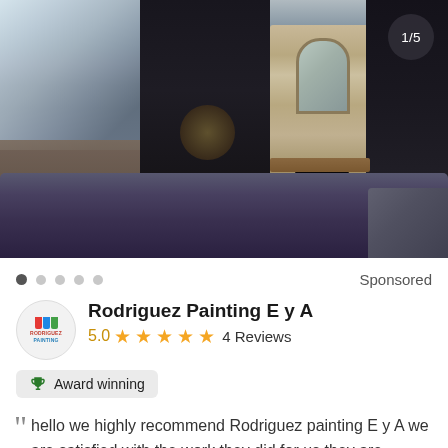[Figure (photo): Interior living room photo showing a fireplace with stone surround, dark accent walls, ceiling fan, staircase on the left, leather sofa in the foreground, and built-in shelving on the right.]
1/5
● ● ● ● ●    Sponsored
Rodriguez Painting E y A
5.0 ★★★★★ 4 Reviews
🏆 Award winning
hello we highly recommend Rodriguez painting E y A we are satisfied with the work they did for us they are